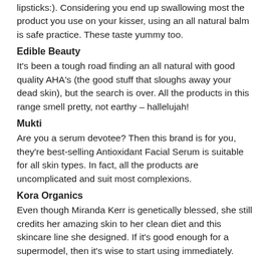lipsticks:). Considering you end up swallowing most the product you use on your kisser, using an all natural balm is safe practice. These taste yummy too.
Edible Beauty
It's been a tough road finding an all natural with good quality AHA's (the good stuff that sloughs away your dead skin), but the search is over. All the products in this range smell pretty, not earthy – hallelujah!
Mukti
Are you a serum devotee? Then this brand is for you, they're best-selling Antioxidant Facial Serum is suitable for all skin types. In fact, all the products are uncomplicated and suit most complexions.
Kora Organics
Even though Miranda Kerr is genetically blessed, she still credits her amazing skin to her clean diet and this skincare line she designed. If it's good enough for a supermodel, then it's wise to start using immediately.